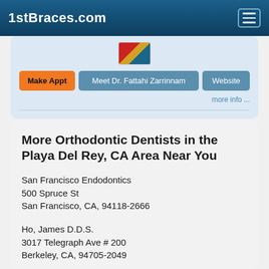1stBraces.com
Make Appt   Meet Dr. Fattahi Zarrinnam   Website
more info ...
More Orthodontic Dentists in the Playa Del Rey, CA Area Near You
San Francisco Endodontics
500 Spruce St
San Francisco, CA, 94118-2666
Ho, James D.D.S.
3017 Telegraph Ave # 200
Berkeley, CA, 94705-2049
Doctor - Activate Your Free 1stBraces Directory listing